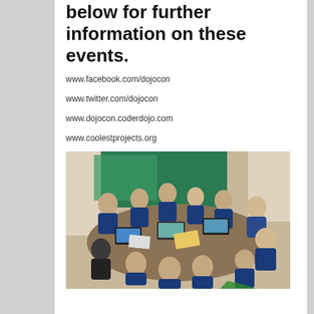below for further information on these events.
www.facebook.com/dojocon
www.twitter.com/dojocon
www.dojocon.coderdojo.com
www.coolestprojects.org
[Figure (photo): Children in blue school uniforms sitting around a table working on laptops in a classroom setting.]